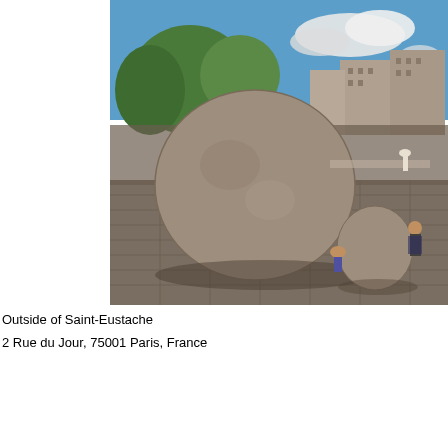[Figure (photo): Outdoor photograph showing a large round stone sculpture in a plaza outside Saint-Eustache church in Paris. A smaller stone piece sits beside it. People stand nearby. Background shows trees, Haussmann-style buildings, and a partly cloudy blue sky.]
Outside of Saint-Eustache
2 Rue du Jour, 75001 Paris, France